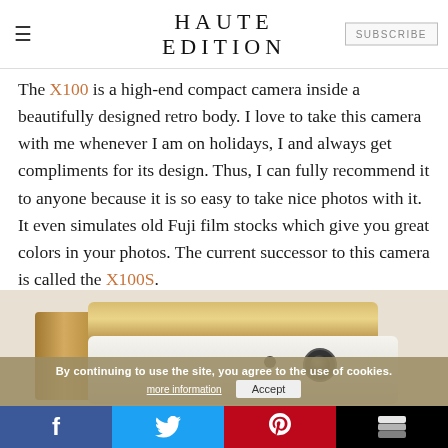HAUTE EDITION
The X100 is a high-end compact camera inside a beautifully designed retro body. I love to take this camera with me whenever I am on holidays, I and always get compliments for its design. Thus, I can fully recommend it to anyone because it is so easy to take nice photos with it. It even simulates old Fuji film stocks which give you great colors in your photos. The current successor to this camera is called the X100S.
[Figure (photo): Close-up photo of a Fuji camera with gold and white body on a beige background]
By continuing to use the site, you agree to the use of cookies. more information Accept